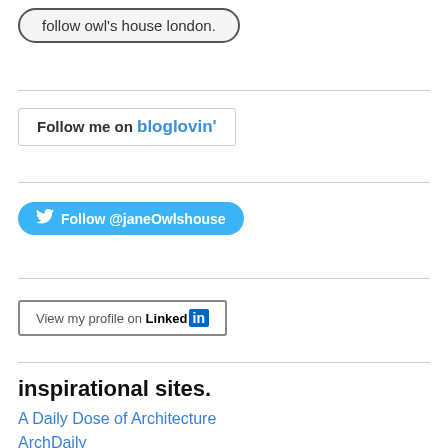[Figure (other): Pill-shaped follow button with text 'follow owl's house london.']
[Figure (other): Bloglovin follow button with text 'Follow me on bloglovin']
[Figure (other): Twitter follow button with bird icon and text 'Follow @janeOwlshouse']
[Figure (other): LinkedIn profile button with text 'View my profile on LinkedIn']
inspirational sites.
A Daily Dose of Architecture
ArchDaily
designboom